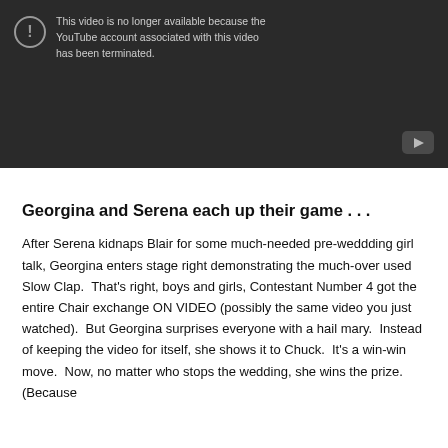[Figure (screenshot): YouTube video unavailable message on dark background: 'This video is no longer available because the YouTube account associated with this video has been terminated.' with a YouTube play button icon in the bottom right.]
Georgina and Serena each up their game . . .
After Serena kidnaps Blair for some much-needed pre-weddding girl talk, Georgina enters stage right demonstrating the much-over used Slow Clap.  That's right, boys and girls, Contestant Number 4 got the entire Chair exchange ON VIDEO (possibly the same video you just watched).  But Georgina surprises everyone with a hail mary.  Instead of keeping the video for itself, she shows it to Chuck.  It's a win-win move.  Now, no matter who stops the wedding, she wins the prize.  (Because